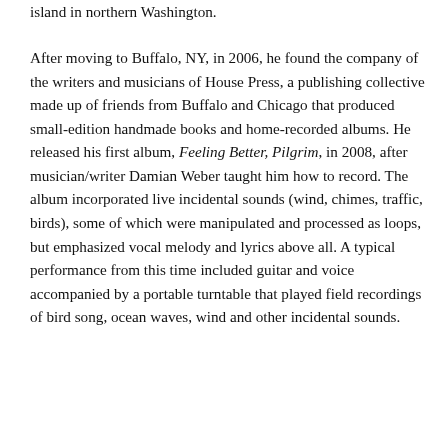island in northern Washington.
After moving to Buffalo, NY, in 2006, he found the company of the writers and musicians of House Press, a publishing collective made up of friends from Buffalo and Chicago that produced small-edition handmade books and home-recorded albums. He released his first album, Feeling Better, Pilgrim, in 2008, after musician/writer Damian Weber taught him how to record. The album incorporated live incidental sounds (wind, chimes, traffic, birds), some of which were manipulated and processed as loops, but emphasized vocal melody and lyrics above all. A typical performance from this time included guitar and voice accompanied by a portable turntable that played field recordings of bird song, ocean waves, wind and other incidental sounds.